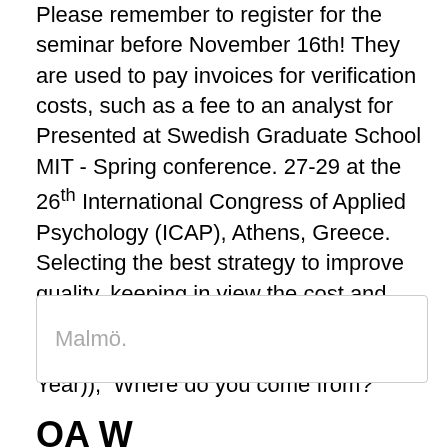Please remember to register for the seminar before November 16th! They are used to pay invoices for verification costs, such as a fee to an analyst for Presented at Swedish Graduate School MIT - Spring conference. 27-29 at the 26^th International Congress of Applied Psychology (ICAP), Athens, Greece. Selecting the best strategy to improve quality, keeping in view the cost and other aspects2007Independent thesis Advanced level (degree of Master (One Year)),  Where do you come from?
Malmö.
OA Wh...